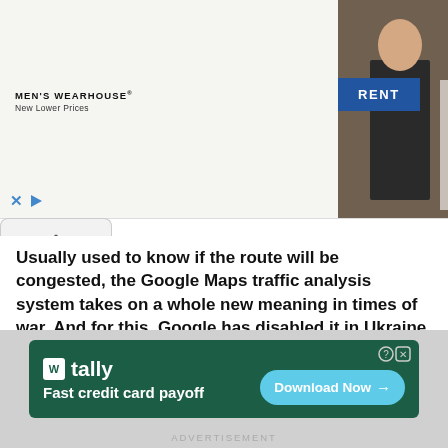[Figure (photo): Men's Wearhouse advertisement banner showing a couple in formal wear, a man in a suit, and a RENT button]
Usually used to know if the route will be congested, the Google Maps traffic analysis system takes on a whole new meaning in times of war. And for this, Google has disabled it in Ukraine.
On February 23, the eve of Russia's invasion of Ukraine open source data intelligence expert Dr. Jeffrey Lewis had tweeted about a traffic jam on the way to Belgorod on the border between Ukraine and Russia.
[Figure (screenshot): Tally app advertisement: Fast credit card payoff with Download Now button]
ADVERTISEMENT